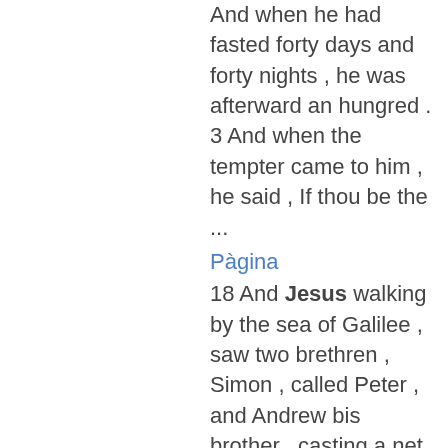And when he had fasted forty days and forty nights , he was afterward an hungred . 3 And when the tempter came to him , he said , If thou be the ...
Pàgina
18 And Jesus walking by the sea of Galilee , saw two brethren , Simon , called Peter , and Andrew bis brother , casting a net into the sea : ( for they were fishers ) 19 And he saith unto them , Follow me , and I will make you fishers ...
Pàgina
4 And Jesus saith unto him , See thou tell no man , but go thy way , shew thyself to the priest